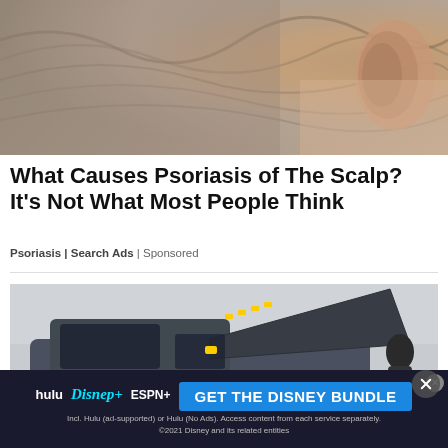[Figure (photo): Close-up photo of the back of a person's head and ear, showing scalp and gray hair]
What Causes Psoriasis of The Scalp? It's Not What Most People Think
Psoriasis | Search Ads | Sponsored
[Figure (photo): A dark gray RAM pickup truck with hood open at what appears to be an auto show, with a person examining the engine]
[Figure (advertisement): Disney Bundle advertisement featuring Hulu, Disney+, and ESPN+ logos with 'GET THE DISNEY BUNDLE' call to action button and fine print about access and 2021 Disney]